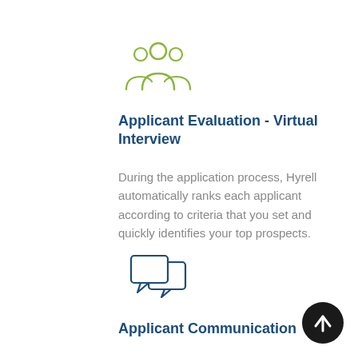[Figure (illustration): Green outline icon of three people/group of users]
Applicant Evaluation - Virtual Interview
During the application process, Hyrell automatically ranks each applicant according to criteria that you set and quickly identifies your top prospects.
[Figure (illustration): Blue outline icon of two speech/chat bubbles]
Applicant Communication